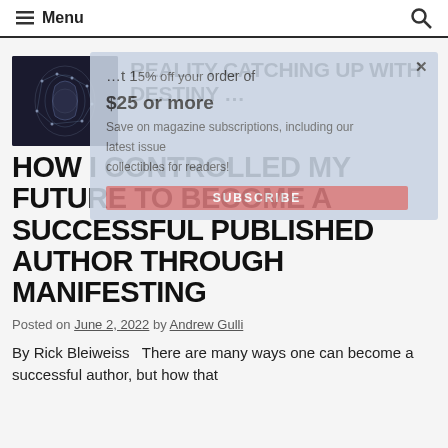Menu
[Figure (screenshot): Promotional overlay banner showing '15% off your order of $25 or more. Save on magazine subscriptions, including our latest issue. Collectibles for readers!' with a red SUBSCRIBE button and an X close button]
[Figure (photo): Dark artistic photo of a human head silhouette with neural network / digital brain imagery]
REALITY CATCHING UP WITH DESTINY ...
HOW I CONTROLLED MY FUTURE TO BECOME A SUCCESSFUL PUBLISHED AUTHOR THROUGH MANIFESTING
Posted on June 2, 2022 by Andrew Gulli
By Rick Bleiweiss   There are many ways one can become a successful author, but how that happens to everyone is considered a...